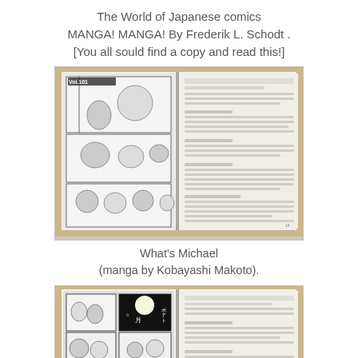The World of Japanese comics MANGA! MANGA! By Frederik L. Schodt . [You all sould find a copy and read this!]
[Figure (photo): Open book showing manga pages on the left (What's Michael comic strips with cat characters) and text/worksheet pages on the right, placed on a wooden table surface.]
What's Michael
(manga by Kobayashi Makoto).
[Figure (photo): Open book showing manga pages on the left with Japanese characters and comic panels, and text/worksheet pages on the right, placed on a wooden table surface.]